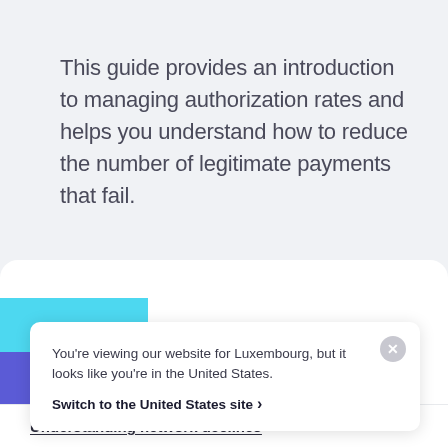This guide provides an introduction to managing authorization rates and helps you understand how to reduce the number of legitimate payments that fail.
You're viewing our website for Luxembourg, but it looks like you're in the United States.
Switch to the United States site ›
Understanding network declines